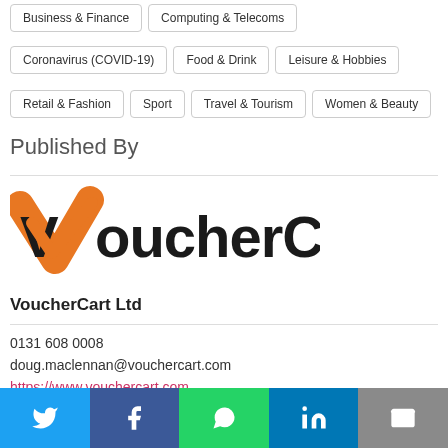Business & Finance
Computing & Telecoms
Coronavirus (COVID-19)
Food & Drink
Leisure & Hobbies
Retail & Fashion
Sport
Travel & Tourism
Women & Beauty
Published By
[Figure (logo): VoucherCart logo with orange checkmark and dark text]
VoucherCart Ltd
0131 608 0008
doug.maclennan@vouchercart.com
https://www.vouchercart.com
[Figure (infographic): Social media sharing bar with Twitter, Facebook, WhatsApp, LinkedIn, and Email buttons]